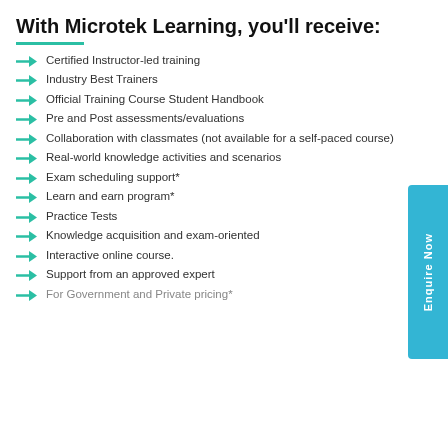With Microtek Learning, you'll receive:
Certified Instructor-led training
Industry Best Trainers
Official Training Course Student Handbook
Pre and Post assessments/evaluations
Collaboration with classmates (not available for a self-paced course)
Real-world knowledge activities and scenarios
Exam scheduling support*
Learn and earn program*
Practice Tests
Knowledge acquisition and exam-oriented
Interactive online course.
Support from an approved expert
For Government and Private pricing*